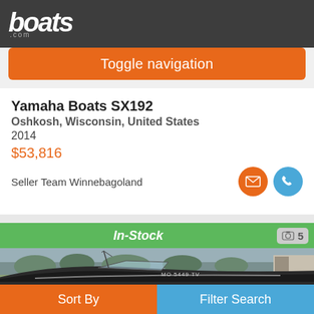boats.com
Toggle navigation
Yamaha Boats SX192
Oshkosh, Wisconsin, United States
2014
$53,816
Seller Team Winnebagoland
In-Stock
[Figure (photo): Photo of a Yamaha Boats SX192 motorboat parked outdoors, with trees and a building in the background. The boat is dark colored with a windshield and registration number MC 5449 TV visible on the hull.]
Sort By
Filter Search